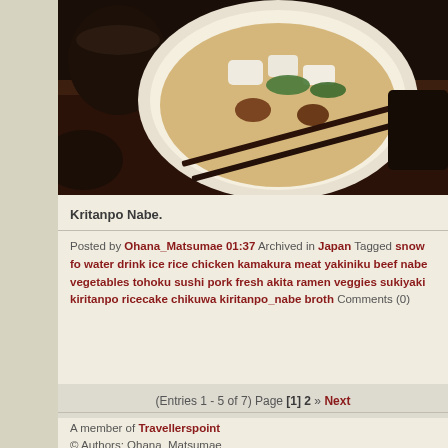[Figure (photo): Photo of a Japanese nabe (hot pot) dish in a white bowl with broth, vegetables, and tofu on a dark wooden tray with chopsticks]
Kritanpo Nabe.
Posted by Ohana_Matsumae 01:37 Archived in Japan Tagged snow fo water drink ice rice chicken kamakura meat yakiniku beef nabe vegetables tohoku sushi pork fresh akita ramen veggies sukiyaki kiritanpo ricecake chikuwa kiritanpo_nabe broth Comments (0)
(Entries 1 - 5 of 7) Page [1] 2 » Next
A member of Travellerspoint
© Authors: Ohana_Matsumae